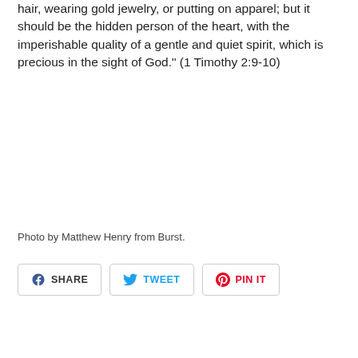Your adornment must not be merely the external — braiding the hair, wearing gold jewelry, or putting on apparel; but it should be the hidden person of the heart, with the imperishable quality of a gentle and quiet spirit, which is precious in the sight of God." (1 Timothy 2:9-10)
Photo by Matthew Henry from Burst.